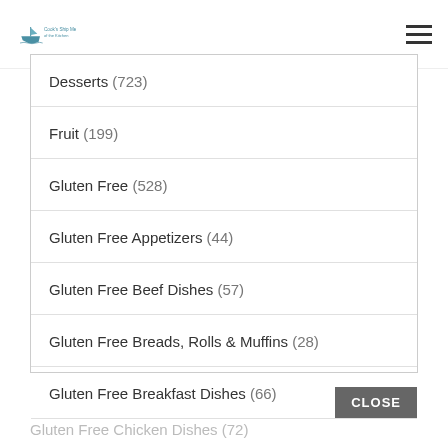Logo / navigation header
Desserts (723)
Fruit (199)
Gluten Free (528)
Gluten Free Appetizers (44)
Gluten Free Beef Dishes (57)
Gluten Free Breads, Rolls & Muffins (28)
Gluten Free Breakfast Dishes (66)
Gluten Free Chicken Dishes (72)